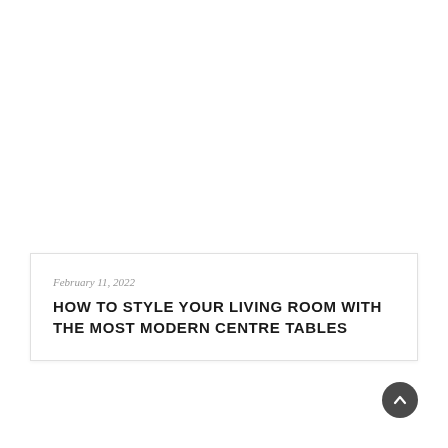February 11, 2022
HOW TO STYLE YOUR LIVING ROOM WITH THE MOST MODERN CENTRE TABLES